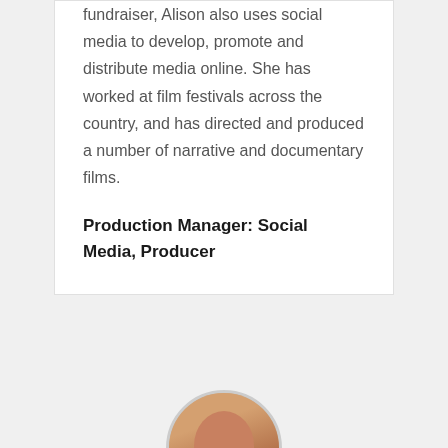fundraiser, Alison also uses social media to develop, promote and distribute media online. She has worked at film festivals across the country, and has directed and produced a number of narrative and documentary films.
Production Manager: Social Media, Producer
[Figure (photo): Circular portrait photo of a person, partially visible at the bottom of the page]